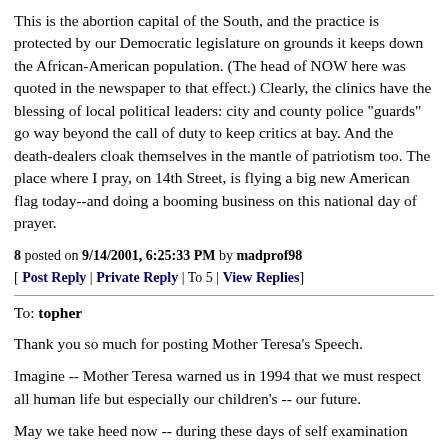This is the abortion capital of the South, and the practice is protected by our Democratic legislature on grounds it keeps down the African-American population. (The head of NOW here was quoted in the newspaper to that effect.) Clearly, the clinics have the blessing of local political leaders: city and county police "guards" go way beyond the call of duty to keep critics at bay. And the death-dealers cloak themselves in the mantle of patriotism too. The place where I pray, on 14th Street, is flying a big new American flag today--and doing a booming business on this national day of prayer.
8 posted on 9/14/2001, 6:25:33 PM by madprof98
[ Post Reply | Private Reply | To 5 | View Replies]
To: topher
Thank you so much for posting Mother Teresa's Speech.
Imagine -- Mother Teresa warned us in 1994 that we must respect all human life but especially our children's -- our future.
May we take heed now -- during these days of self examination and may these horrific acts of violence that took so many innoncent lives of fathers and mothers just going to work for their families be remembered as the day that America said: WE MUST STOP THE KILLING now.